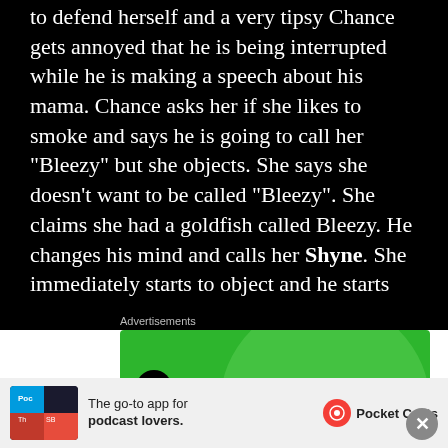to defend herself and a very tipsy Chance gets annoyed that he is being interrupted while he is making a speech about his mama. Chance asks her if she likes to smoke and says he is going to call her “Bleezy” but she objects. She says she doesn’t want to be called “Bleezy”. She claims she had a goldfish called Bleezy. He changes his mind and calls her Shyne. She immediately starts to object and he starts screaming “Shyne it is” and shoos her off.
Advertisements
[Figure (other): Jetpack advertisement banner on a green background with a circular bolt logo]
[Figure (other): Pocket Casts advertisement: The go-to app for podcast lovers.]